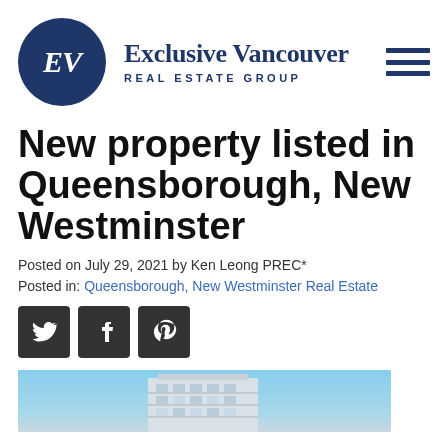[Figure (logo): Exclusive Vancouver Real Estate Group logo with dark blue circle containing EV initials and brand name text beside it, plus hamburger menu icon]
New property listed in Queensborough, New Westminster
Posted on July 29, 2021 by Ken Leong PREC*
Posted in: Queensborough, New Westminster Real Estate
[Figure (infographic): Social media share buttons for Twitter, Facebook, and Pinterest]
[Figure (photo): Partial photo of a modern condominium building against a blue sky]